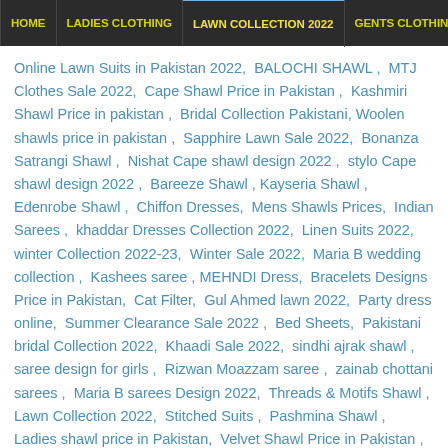HOME | LADIES CLOTHING | LAWN COLLECTION 2022 | GENTS CLOTHING
Online Lawn Suits in Pakistan 2022, BALOCHI SHAWL , MTJ Clothes Sale 2022, Cape Shawl Price in Pakistan , Kashmiri Shawl Price in pakistan , Bridal Collection Pakistani, Woolen shawls price in pakistan , Sapphire Lawn Sale 2022, Bonanza Satrangi Shawl , Nishat Cape shawl design 2022 , stylo Cape shawl design 2022 , Bareeze Shawl , Kayseria Shawl , Edenrobe Shawl , Chiffon Dresses, Mens Shawls Prices, Indian Sarees , khaddar Dresses Collection 2022, Linen Suits 2022, winter Collection 2022-23, Winter Sale 2022, Maria B wedding collection , Kashees saree , MEHNDI Dress, Bracelets Designs Price in Pakistan, Cat Filter, Gul Ahmed lawn 2022, Party dress online, Summer Clearance Sale 2022 , Bed Sheets, Pakistani bridal Collection 2022, Khaadi Sale 2022, sindhi ajrak shawl , saree design for girls , Rizwan Moazzam saree , zainab chottani sarees , Maria B sarees Design 2022, Threads & Motifs Shawl , Lawn Collection 2022, Stitched Suits , Pashmina Shawl , Ladies shawl price in Pakistan, Velvet Shawl Price in Pakistan , Breakout Shawl , Saree Blouses Design,